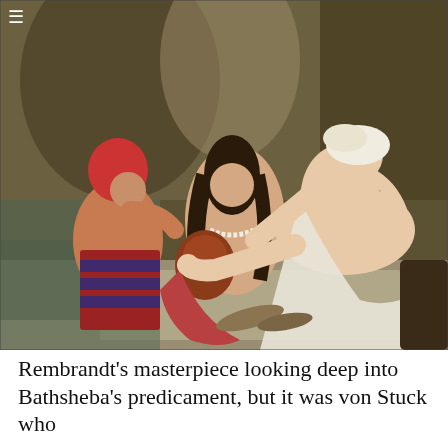[Figure (photo): A classical oil painting depicting three figures in an outdoor bathing scene. A reclining nude woman with a white head wrap leans against white drapery at right. A dark-haired semi-nude woman in the center holds a reddish-brown vessel, wearing a pearl necklace. A third figure wearing a red head covering crouches at left with striped red and blue clothing, partially in water. Sandals are visible on the stone ledge in the foreground. Dark olive-brown background suggests a grotto or garden setting.]
Rembrandt's masterpiece looking deep into Bathsheba's predicament, but it was von Stuck who